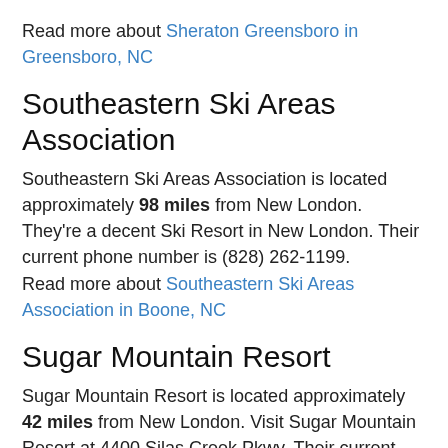Read more about Sheraton Greensboro in Greensboro, NC
Southeastern Ski Areas Association
Southeastern Ski Areas Association is located approximately 98 miles from New London. They're a decent Ski Resort in New London. Their current phone number is (828) 262-1199.
Read more about Southeastern Ski Areas Association in Boone, NC
Sugar Mountain Resort
Sugar Mountain Resort is located approximately 42 miles from New London. Visit Sugar Mountain Resort at 4400 Silas Creek Pkwy. Their current phone number is (336) 760-8832.
Read more about Sugar Mountain Resort in...